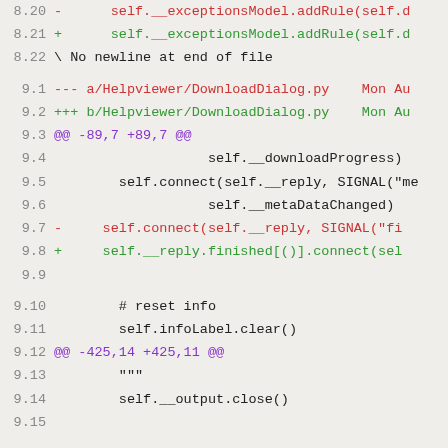8.20  -       self.__exceptionsModel.addRule(self.d
8.21  +       self.__exceptionsModel.addRule(self.d
8.22  \ No newline at end of file
9.1   --- a/Helpviewer/DownloadDialog.py    Mon Au
9.2   +++ b/Helpviewer/DownloadDialog.py    Mon Au
9.3   @@ -89,7 +89,7 @@
9.4                    self.__downloadProgress)
9.5          self.connect(self.__reply, SIGNAL("me
9.6                    self.__metaDataChanged)
9.7   -      self.connect(self.__reply, SIGNAL("fi
9.8   +      self.__reply.finished[()].connect(sel
9.9
9.10         # reset info
9.11         self.infoLabel.clear()
9.12  @@ -425,14 +425,11 @@
9.13         """
9.14         self.__output.close()
9.15
9.16  -      self.disconnect(self.__reply, SIGNAL(
9.17  -      self.disconnect(self.__reply, SIGNAL(